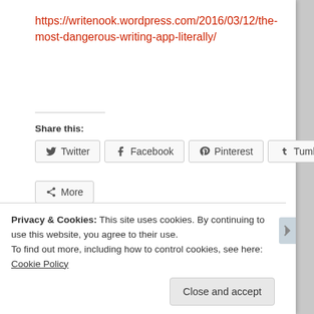https://writenook.wordpress.com/2016/03/12/the-most-dangerous-writing-app-literally/
Share this:
Twitter
Facebook
Pinterest
Tumblr
More
Loading...
Privacy & Cookies: This site uses cookies. By continuing to use this website, you agree to their use.
To find out more, including how to control cookies, see here: Cookie Policy
Close and accept